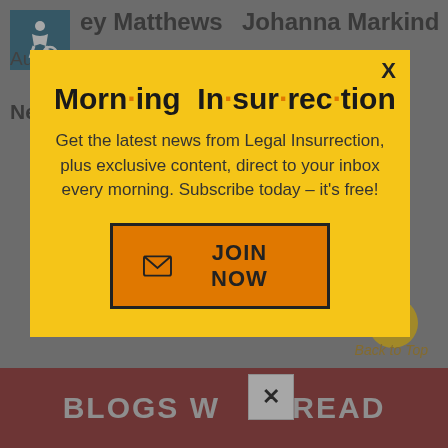ey Matthews
Author
Johanna Markind
Research Editor
New Neo
Mandy Nagy
[Figure (screenshot): Modal popup dialog with yellow background containing Morning Insurrection newsletter signup. Title reads 'Morn·ing In·sur·rec·tion' with orange dots between syllables. Body text: 'Get the latest news from Legal Insurrection, plus exclusive content, direct to your inbox every morning. Subscribe today – it's free!' with an orange 'JOIN NOW' button with envelope icon. Close X in top right corner.]
Back to Top
BLOGS WE READ